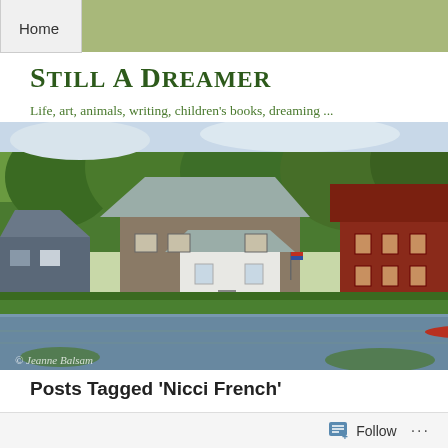Home
Still A Dreamer
Life, art, animals, writing, children's books, dreaming ...
[Figure (photo): Scenic view of stone houses and a red barn beside a calm pond with trees and a watermark '© Jeanne Balsam']
Posts Tagged 'Nicci French'
Books, Wonderful Books
Posted in Authors, Books, Creativity, Good Reads, Novels, Writing, tagged books, ficti…
Follow ...